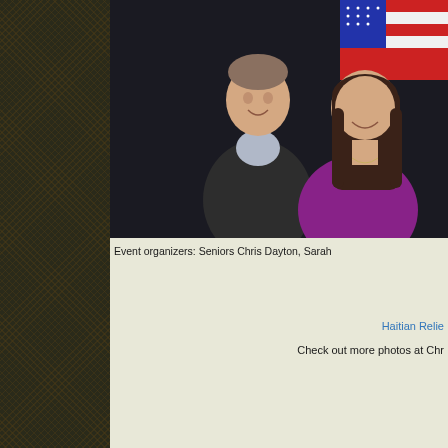[Figure (photo): Two smiling students (a young man in a dark sweater and a young woman in a purple top) posing together in front of an American flag backdrop.]
Event organizers: Seniors Chris Dayton, Sarah
Haitian Relie
Check out more photos at Chr